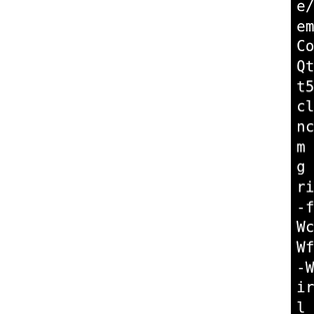e/qt5/QtWebEngineWidgets -isystem /usr/include/qt5/QtWebEngineCore -isystem /usr/include/qt5/QtQuick -isystem /usr/include/qt5/QtQmlModels -isystem /usr/include/qt5/QtQml -isystem /usr/include/qt5/QtWebChannel -isystem /usr/include/qt5/QtPositioning -isystem /usr/include/qt5/QtPrintSupport -fno-operator- -fno-exceptions -Wall -Wextra -Wcast-align -Wchar-subscripts -Wformat-security -Wno-long-jump -Wpointer-arith -Wundef -Wvirtual-dtor -Woverloaded-virtual -Werror=return-type -Werror=init-self -Wvla -Wdate-time -Wsuggest-override -Wlogical-op -fdiagnostics-color=always -Wtrampolines -pipe -Wformat -Werror=format-security -gdwarf-4 -fno-debug-types-section -fvar-tracking-assignments -g2 -Wp,-D_FORTIFY_SOURCE=2 -fstack-protector-strong